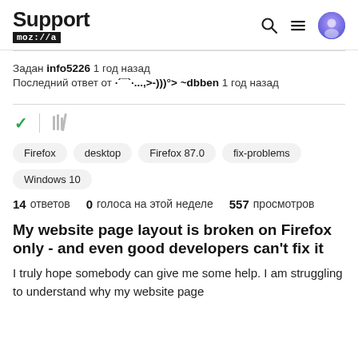Support mozilla//a
Задан info5226 1 год назад
Последний ответ от ·´¯`·...,>-)))°> ~dbben 1 год назад
[Figure (other): Checkmark and library/stack icons]
Firefox  desktop  Firefox 87.0  fix-problems  Windows 10
14 ответов  0 голоса на этой неделе  557 просмотров
My website page layout is broken on Firefox only - and even good developers can't fix it
I truly hope somebody can give me some help. I am struggling to understand why my website page